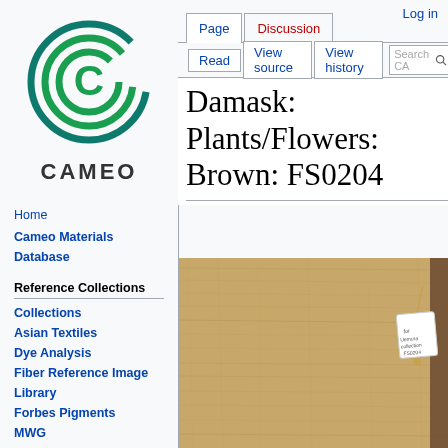Log in
[Figure (logo): CAMEO circular logo with green concentric circles forming a C shape, with text CAMEO below]
Home
Cameo Materials Database
Reference Collections
Collections
Asian Textiles
Dye Analysis
Fiber Reference Image Library
Forbes Pigments
MWG
Uemura Dye Archive
Damask: Plants/Flowers: Brown: FS0204
[Figure (photo): Photograph of a brown damask fabric with floral plant patterns, with a small hanging tag visible on the right side]